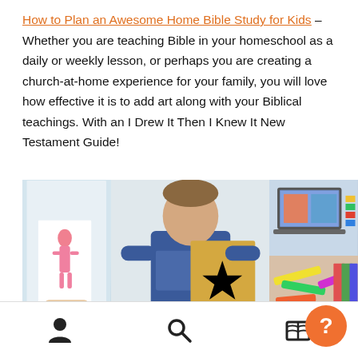How to Plan an Awesome Home Bible Study for Kids – Whether you are teaching Bible in your homeschool as a daily or weekly lesson, or perhaps you are creating a church-at-home experience for your family, you will love how effective it is to add art along with your Biblical teachings. With an I Drew It Then I Knew It New Testament Guide!
[Figure (photo): A collage of four photos: child holding a pink drawing, a teenage boy holding a Hamilton art piece, a laptop with colorful blocks, and crafts/books]
Navigation bar with person icon, search icon, home icon, and help button